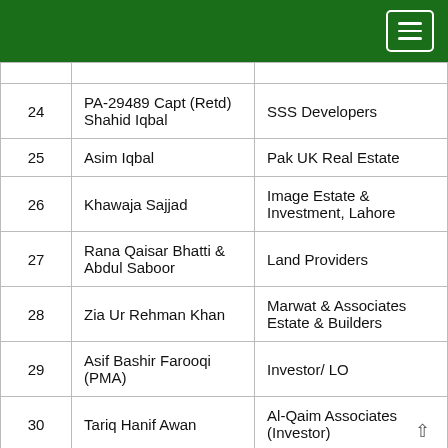Navigation menu
| # | Name | Organization |
| --- | --- | --- |
| 24 | PA-29489 Capt (Retd) Shahid Iqbal | SSS Developers |
| 25 | Asim Iqbal | Pak UK Real Estate |
| 26 | Khawaja Sajjad | Image Estate & Investment, Lahore |
| 27 | Rana Qaisar Bhatti & Abdul Saboor | Land Providers |
| 28 | Zia Ur Rehman Khan | Marwat & Associates Estate & Builders |
| 29 | Asif Bashir Farooqi (PMA) | Investor/ LO |
| 30 | Tariq Hanif Awan | Al-Qaim Associates (Investor) |